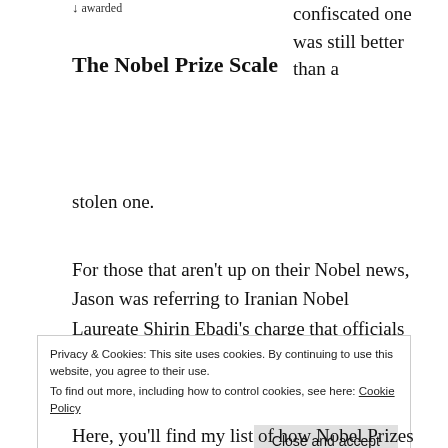↓ awarded
The Nobel Prize Scale
confiscated one was still better than a stolen one.
For those that aren't up on their Nobel news, Jason was referring to Iranian Nobel Laureate Shirin Ebadi's charge that officials had seized her award, a charge which Iran subsequently denied. I was talking about Indian Nobel Laureate Rabindranath Tagore's medal which was stolen in 2004. The police recently
Here, you'll find my list of how Nobel Prizes stack up